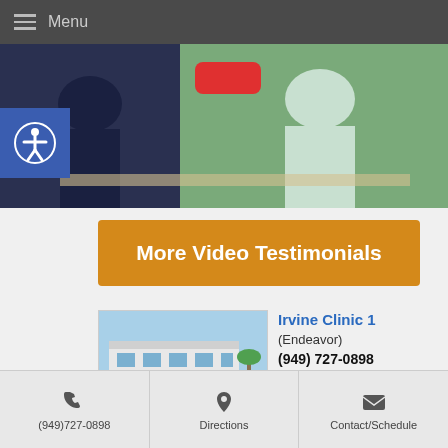Menu
[Figure (photo): Medical consultation video thumbnail showing two people seated at a table, with a red play button overlay]
More Video Testimonials
[Figure (photo): Exterior photo of Irvine Clinic 1 (Endeavor) building with palm trees and parked cars]
Irvine Clinic 1
(Endeavor)
(949) 727-0898
[Figure (photo): Exterior photo of a second medical clinic building with brown/beige facade]
(949)727-0898   Directions   Contact/Schedule